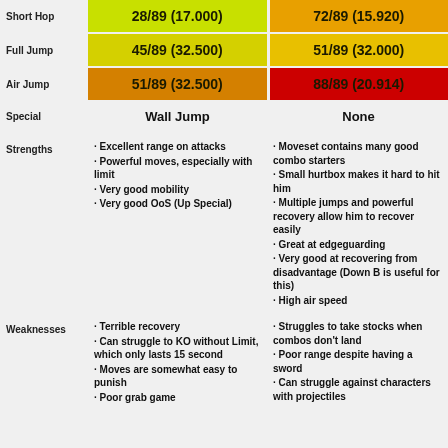|  | Character 1 | Character 2 |
| --- | --- | --- |
| Short Hop | 28/89 (17.000) | 72/89 (15.920) |
| Full Jump | 45/89 (32.500) | 51/89 (32.000) |
| Air Jump | 51/89 (32.500) | 88/89 (20.914) |
| Special | Wall Jump | None |
Excellent range on attacks
Powerful moves, especially with limit
Very good mobility
Very good OoS (Up Special)
Moveset contains many good combo starters
Small hurtbox makes it hard to hit him
Multiple jumps and powerful recovery allow him to recover easily
Great at edgeguarding
Very good at recovering from disadvantage (Down B is useful for this)
High air speed
Terrible recovery
Can struggle to KO without Limit, which only lasts 15 second
Moves are somewhat easy to punish
Poor grab game
Struggles to take stocks when combos don't land
Poor range despite having a sword
Can struggle against characters with projectiles